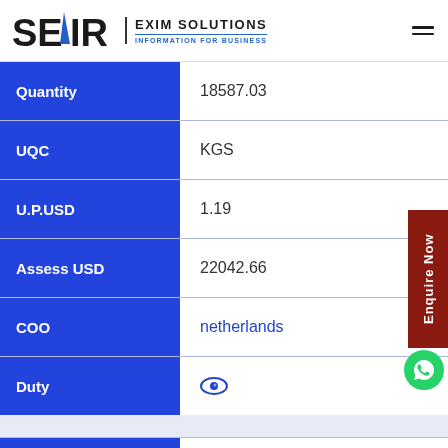SEAIR EXIM SOLUTIONS - INFORMATION FOR BUSINESS
| Field | Value |
| --- | --- |
| Quantity | 18587.03 |
| UQC | KGS |
| U.P.USD | 1.19 |
| Assess USD | 22042.66 |
| COO | netherlands |
| Duty | (eye icon - hidden) |
| Date | 27-Oct-2016 |
| Indian Port | nagpur |